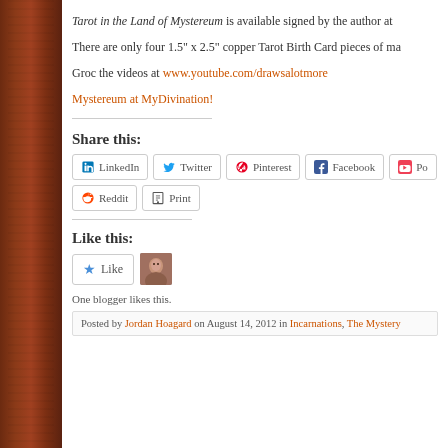Tarot in the Land of Mystereum is available signed by the author at
There are only four 1.5" x 2.5" copper Tarot Birth Card pieces of ma
Groc the videos at www.youtube.com/drawsalotmore
Mystereum at MyDivination!
Share this:
LinkedIn | Twitter | Pinterest | Facebook | Po
Reddit | Print
Like this:
Like
One blogger likes this.
Posted by Jordan Hoagard on August 14, 2012 in Incarnations, The Mystery